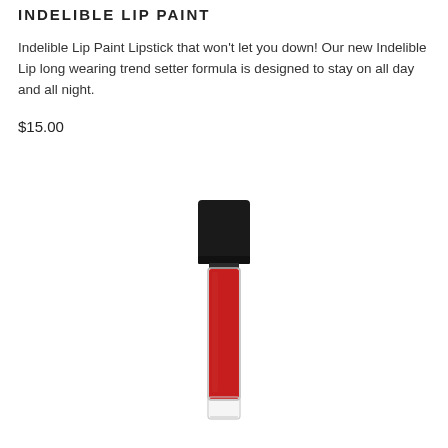INDELIBLE LIP PAINT
Indelible Lip Paint Lipstick that won't let you down! Our new Indelible Lip long wearing trend setter formula is designed to stay on all day and all night.
$15.00
[Figure (photo): A red liquid lip paint lipstick with a black rectangular cap and a clear base, standing upright. The tube is narrow and tall with a vivid red color visible through the transparent lower portion.]